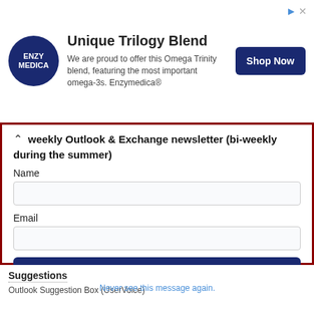[Figure (other): Advertisement banner for Enzymedica Unique Trilogy Blend with logo, descriptive text, and Shop Now button]
weekly Outlook & Exchange newsletter (bi-weekly during the summer)
Name
Email
SUBMIT
Please note: If you subscribed to Exchange Messaging Outlook before August 2019, please re-subscribe.
Suggestions
Never see this message again.
Outlook Suggestion Box (UserVoice)